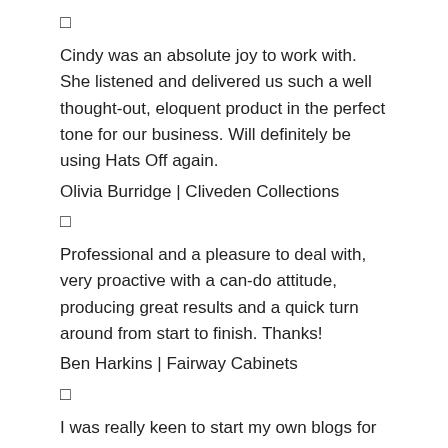☐
Cindy was an absolute joy to work with. She listened and delivered us such a well thought-out, eloquent product in the perfect tone for our business. Will definitely be using Hats Off again.
Olivia Burridge | Cliveden Collections
☐
Professional and a pleasure to deal with, very proactive with a can-do attitude, producing great results and a quick turn around from start to finish. Thanks!
Ben Harkins | Fairway Cabinets
☐
I was really keen to start my own blogs for my